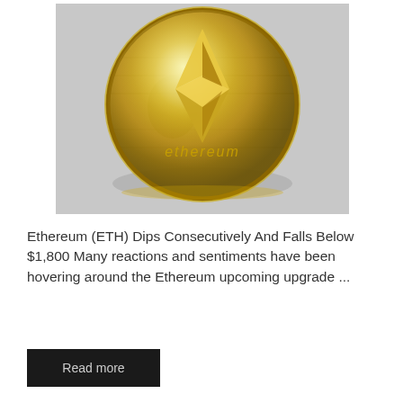[Figure (photo): A gold Ethereum coin with the Ethereum diamond logo and the word 'ethereum' engraved on it, placed on top of US dollar banknotes against a light grey background.]
Ethereum (ETH) Dips Consecutively And Falls Below $1,800 Many reactions and sentiments have been hovering around the Ethereum upcoming upgrade ...
Read more